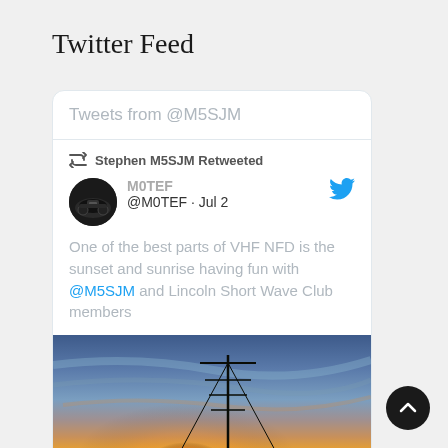Twitter Feed
Tweets from @M5SJM
Stephen M5SJM Retweeted
M0TEF @M0TEF · Jul 2
One of the best parts of VHF NFD is the sunset and sunrise having fun with @M5SJM and Lincoln Short Wave Club members
[Figure (photo): Sunset/sunrise landscape photo with antenna silhouette and dramatic sky colours, taken at VHF NFD event]